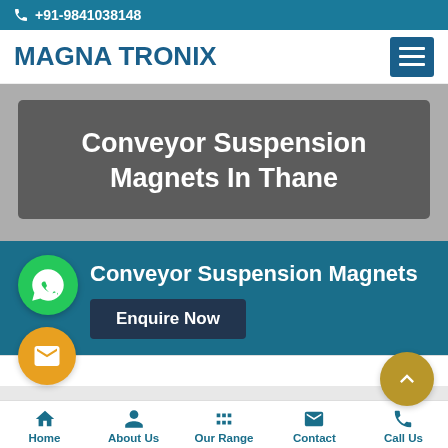+91-9841038148
MAGNA TRONIX
Conveyor Suspension Magnets In Thane
Conveyor Suspension Magnets
Enquire Now
Home  About Us  Our Range  Contact  Call Us